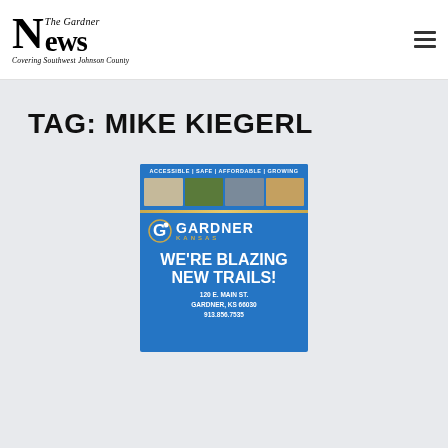The Gardner News — Covering Southwest Johnson County
TAG: MIKE KIEGERL
[Figure (infographic): Gardner, Kansas city promotional advertisement. Blue background with text: ACCESSIBLE | SAFE | AFFORDABLE | GROWING, four photos across top, Gardner Kansas logo with stylized G, WE'RE BLAZING NEW TRAILS!, 120 E. MAIN ST. GARDNER, KS 66030, 913.856.7535]